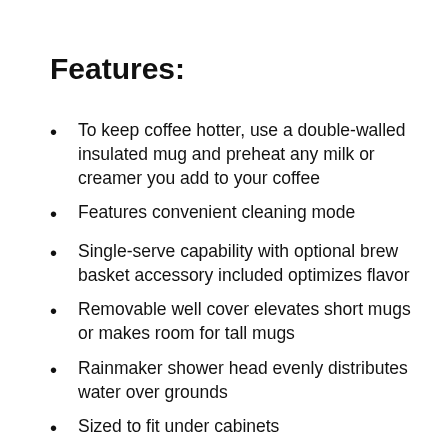Features:
To keep coffee hotter, use a double-walled insulated mug and preheat any milk or creamer you add to your coffee
Features convenient cleaning mode
Single-serve capability with optional brew basket accessory included optimizes flavor
Removable well cover elevates short mugs or makes room for tall mugs
Rainmaker shower head evenly distributes water over grounds
Sized to fit under cabinets